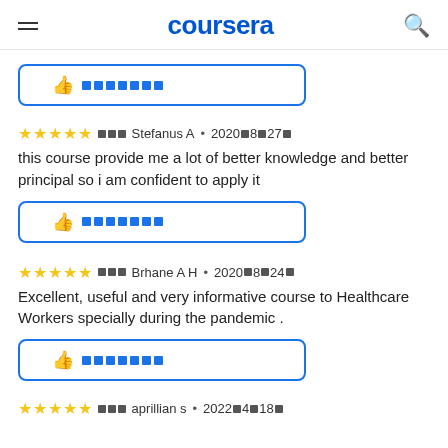coursera
[thumbs up button - first review]
⭐⭐⭐⭐⭐ □□□ Stefanus A • 2020□8□27□
this course provide me a lot of better knowledge and better principal so i am confident to apply it
[thumbs up button - second review]
⭐⭐⭐⭐⭐ □□□ Brhane A H • 2020□8□24□
Excellent, useful and very informative course to Healthcare Workers specially during the pandemic .
[thumbs up button - third review]
⭐⭐⭐⭐⭐ □□□ aprillian s • 2022□4□18□